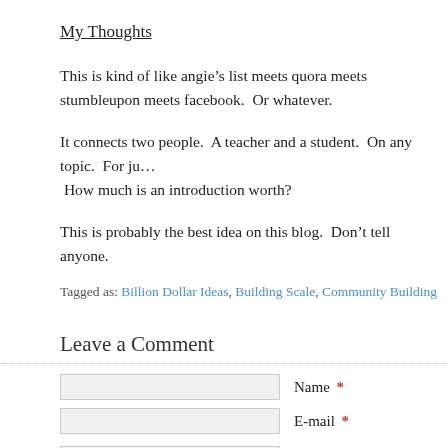My Thoughts
This is kind of like angie’s list meets quora meets stumbleupon meets facebook.  Or whatever.
It connects two people.  A teacher and a student.  On any topic.  For ju…  How much is an introduction worth?
This is probably the best idea on this blog.  Don’t tell anyone.
Tagged as: Billion Dollar Ideas, Building Scale, Community Building
Leave a Comment